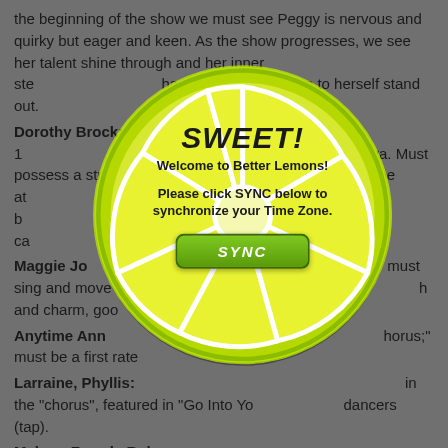the beginning of the show we must see Peggy is nervous and quirky but eager and keen. As the show progresses, we see her talent shine through and her inner ste... ...haracter to remain true to herself stand out.
Dorothy Brock: 1... ...diva. Must possess a stro... ...and mean to everyone at... ...important in life after b... ...m. The actress ca...
Maggie Jo... ...must sing and move... ...h and charm, goo...
Anytime Ann... ...horus;" must be a first rate...
Larraine, Phyllis: ...in the "chorus", featured in "Go Into Yo... ...dancers (tap).
Male or Female Role
Andy Lee: 12-18, Non-singing role, the choreographer of the show, excellent tap dancer.
Ensemble
Ages 10 to 18, must sing and dance well. Strong tap skills recommended. The more you tap, the more you do. Great ensemble parts with lots of lines.
[Figure (infographic): A lemon slice popup overlay with 'SWEET! Welcome to Better Lemons! Please click SYNC below to synchronize your Time Zone.' and a green SYNC button.]